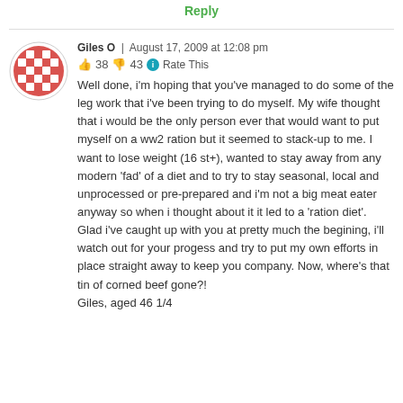Reply
Giles O | August 17, 2009 at 12:08 pm
👍 38 👎 43 ℹ Rate This
Well done, i'm hoping that you've managed to do some of the leg work that i've been trying to do myself. My wife thought that i would be the only person ever that would want to put myself on a ww2 ration but it seemed to stack-up to me. I want to lose weight (16 st+), wanted to stay away from any modern 'fad' of a diet and to try to stay seasonal, local and unprocessed or pre-prepared and i'm not a big meat eater anyway so when i thought about it it led to a 'ration diet'. Glad i've caught up with you at pretty much the begining, i'll watch out for your progess and try to put my own efforts in place straight away to keep you company. Now, where's that tin of corned beef gone?!
Giles, aged 46 1/4